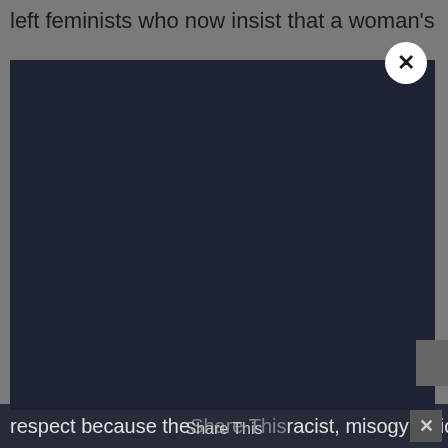left feminists who now insist that a woman's
[Figure (screenshot): Dark navy blue modal overlay popup covering most of the page content, with a white circular close button (×) in the upper right corner]
respect because these Share Thisracist, misogynistic